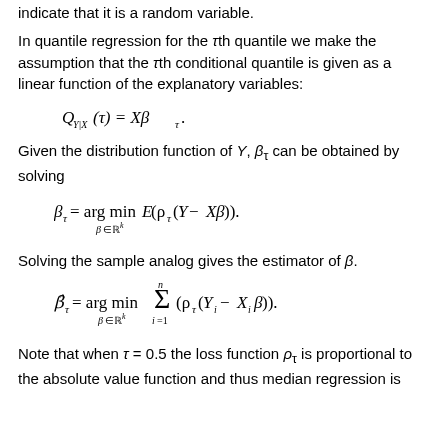We use a capital Q to denote the conditional quantile to indicate that it is a random variable.
In quantile regression for the τth quantile we make the assumption that the τth conditional quantile is given as a linear function of the explanatory variables:
Given the distribution function of Y, β_τ can be obtained by solving
Solving the sample analog gives the estimator of β.
Note that when τ = 0.5 the loss function ρ_τ is proportional to the absolute value function and thus median regression is